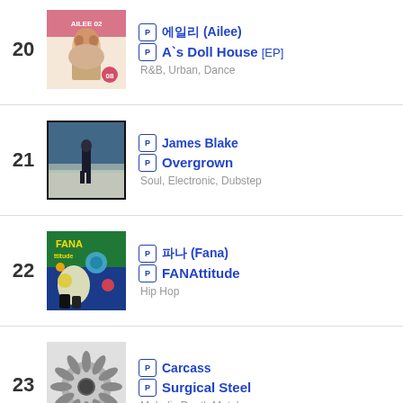20 – 에일리 (Ailee) / A's Doll House [EP] / R&B, Urban, Dance
21 – James Blake / Overgrown / Soul, Electronic, Dubstep
22 – 파나 (Fana) / FANAttitude / Hip Hop
23 – Carcass / Surgical Steel / Melodic Death Metal